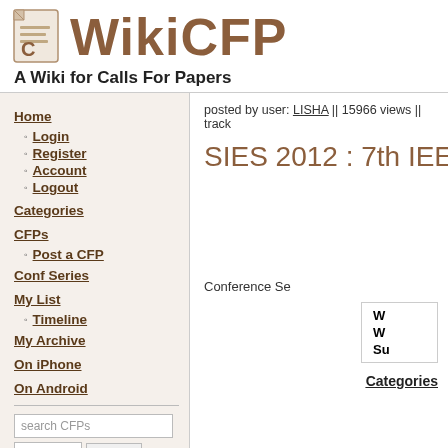[Figure (logo): WikiCFP logo with document icon and brown text]
A Wiki for Calls For Papers
Home
Login
Register
Account
Logout
Categories
CFPs
Post a CFP
Conf Series
My List
Timeline
My Archive
On iPhone
On Android
posted by user: LISHA || 15966 views || track
SIES 2012 : 7th IEEE I
Conference Se
| W |
| W |
| Su |
Categories